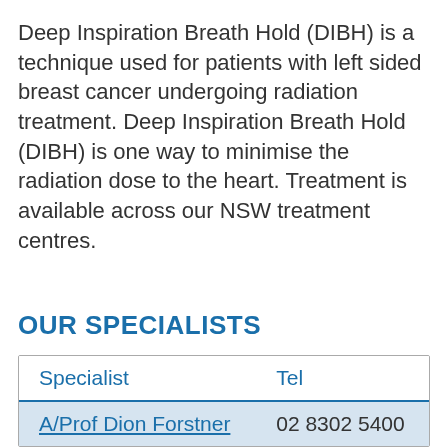Deep Inspiration Breath Hold (DIBH) is a technique used for patients with left sided breast cancer undergoing radiation treatment. Deep Inspiration Breath Hold (DIBH) is one way to minimise the radiation dose to the heart. Treatment is available across our NSW treatment centres.
OUR SPECIALISTS
| Specialist | Tel |
| --- | --- |
| A/Prof Dion Forstner | 02 8302 5400 |